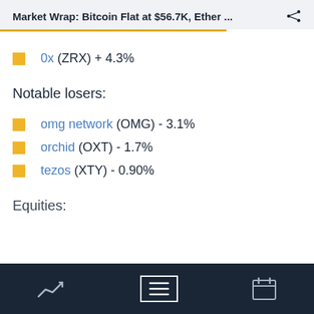Market Wrap: Bitcoin Flat at $56.7K, Ether ...
0x (ZRX) + 4.3%
Notable losers:
omg network (OMG) - 3.1%
orchid (OXT) - 1.7%
tezos (XTY) - 0.90%
Equities:
Navigation bar with chart, list, and calendar icons